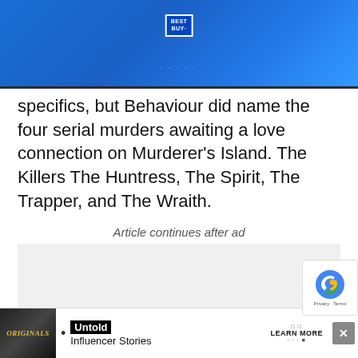[Figure (other): Best Buy advertisement banner with blue gradient background and Best Buy logo at top center]
specifics, but Behaviour did name the four serial murders awaiting a love connection on Murderer’s Island. The Killers The Huntress, The Spirit, The Trapper, and The Wraith.
Article continues after ad
[Figure (other): Gray advertisement placeholder box]
[Figure (other): Bottom advertisement bar showing Originals logo with Untold Influencer Stories and Learn More button]